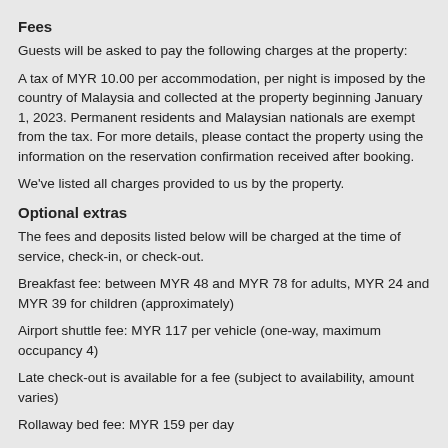Fees
Guests will be asked to pay the following charges at the property:
A tax of MYR 10.00 per accommodation, per night is imposed by the country of Malaysia and collected at the property beginning January 1, 2023. Permanent residents and Malaysian nationals are exempt from the tax. For more details, please contact the property using the information on the reservation confirmation received after booking.
We've listed all charges provided to us by the property.
Optional extras
The fees and deposits listed below will be charged at the time of service, check-in, or check-out.
Breakfast fee: between MYR 48 and MYR 78 for adults, MYR 24 and MYR 39 for children (approximately)
Airport shuttle fee: MYR 117 per vehicle (one-way, maximum occupancy 4)
Late check-out is available for a fee (subject to availability, amount varies)
Rollaway bed fee: MYR 159 per day
This may not be a comprehensive list. Fees and deposits are subject to change and might not include tax.